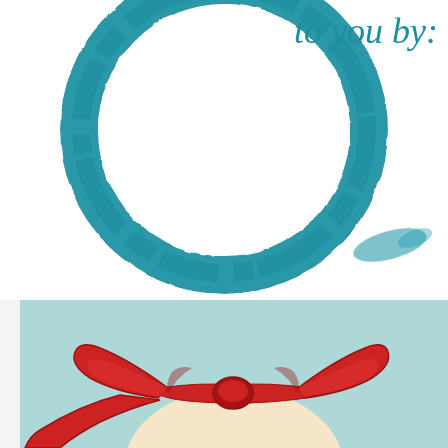[Figure (illustration): Top half of a large teal/blue watercolor brush-stroke circle ring on a white background, with italic teal text 'to you by:' in the upper right area inside/above the circle.]
to you by:
[Figure (illustration): Light teal/mint background panel showing a cartoon red bow with ribbon ends, characteristic of Dr. Seuss Thing 1 and Thing 2 style, with a cream-colored rounded head shape partially visible at the bottom.]